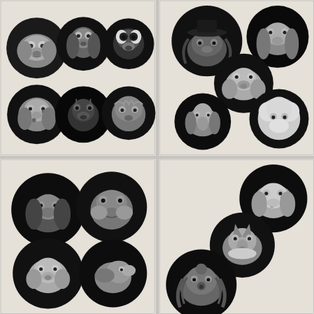[Figure (illustration): Black and white illustration/painting of 6 dog portraits arranged in two rows of three, each dog face shown inside a dark circular frame on a light beige background. Top row: pug/bulldog mix, spaniel, Boston terrier. Bottom row: spotted spaniel, dark terrier/husky, shaggy terrier.]
[Figure (illustration): Black and white illustration/painting of 5 dog portraits arranged staggered on a light beige background, each inside a dark circular frame. Top left: long-haired dog with hat. Top right: hound. Middle: labrador/retriever. Bottom left: greyhound/whippet. Bottom right: fluffy poodle-type dog.]
[Figure (illustration): Black and white illustration/painting of 4 dog portraits arranged in two rows of two, each inside a dark circular frame on a light beige background. Top left: dachshund/spaniel. Top right: bulldog. Bottom left: labrador/golden. Bottom right: small dog profile.]
[Figure (illustration): Black and white illustration/painting of 4 dog portraits arranged staggered on a light beige background, each inside a dark circular frame. Top right: spaniel. Middle center: fox/spitz. Bottom left: long-haired Yorkshire terrier type. Partially visible bottom right area.]